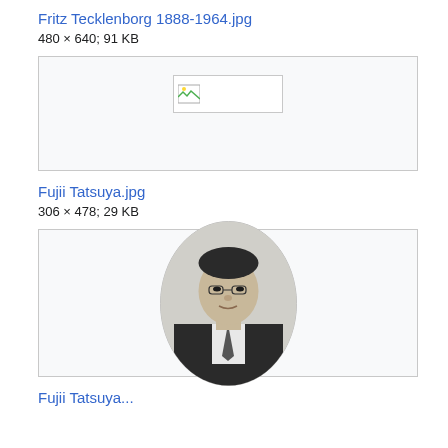Fritz Tecklenborg 1888-1964.jpg
480 × 640; 91 KB
[Figure (photo): Broken image placeholder for Fritz Tecklenborg 1888-1964.jpg]
Fujii Tatsuya.jpg
306 × 478; 29 KB
[Figure (photo): Black and white oval portrait photograph of Fujii Tatsuya, a Japanese man in a suit and tie]
Fujii Tatsuya...